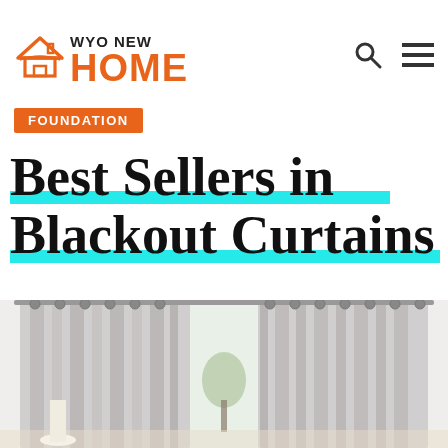WYO NEW HOME
FOUNDATION
Best Sellers in Blackout Curtains
[Figure (photo): Photo of gray blackout curtains hung on a rod over a bright window in a living room setting]